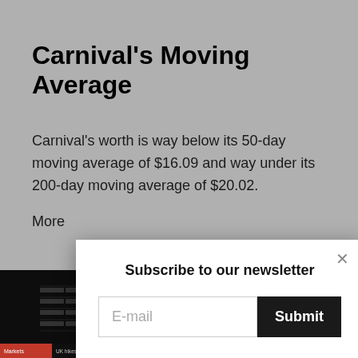Carnival's Moving Average
Carnival's worth is way below its 50-day moving average of $16.09 and way under its 200-day moving average of $20.02.
More
[Figure (screenshot): Finance market dashboard screenshot showing stock data tables with red and green highlights, a YouTube play button overlay, and a news ticker at the bottom.]
Subscribe to our newsletter
E-mail
Submit